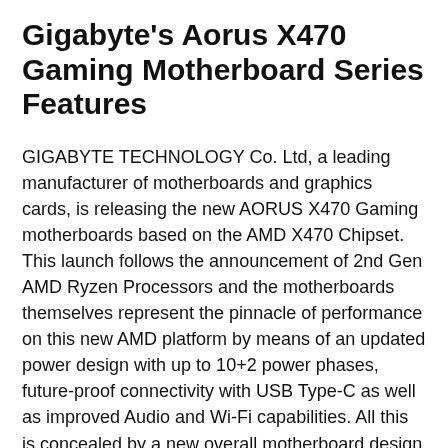Gigabyte's Aorus X470 Gaming Motherboard Series Features
GIGABYTE TECHNOLOGY Co. Ltd, a leading manufacturer of motherboards and graphics cards, is releasing the new AORUS X470 Gaming motherboards based on the AMD X470 Chipset. This launch follows the announcement of 2nd Gen AMD Ryzen Processors and the motherboards themselves represent the pinnacle of performance on this new AMD platform by means of an updated power design with up to 10+2 power phases, future-proof connectivity with USB Type-C as well as improved Audio and Wi-Fi capabilities. All this is concealed by a new overall motherboard design that better showcases the dominant ascension of the AORUS eagle.